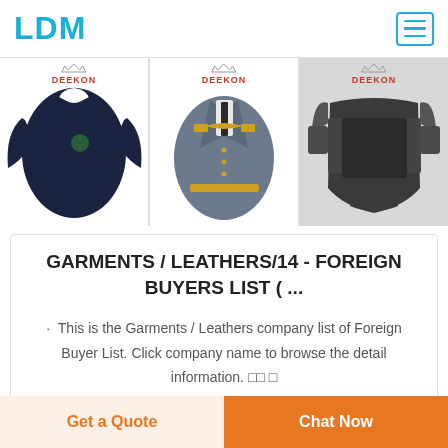LDM
[Figure (photo): Three product images side by side with DEEKON branding: a navy long-sleeve polo shirt, a grey military uniform jacket, and a black tactical body armor vest]
GARMENTS / LEATHERS/14 - FOREIGN BUYERS LIST ( ...
This is the Garments / Leathers company list of Foreign Buyer List. Click company name to browse the detail information.
Get a Quote | Chat Now